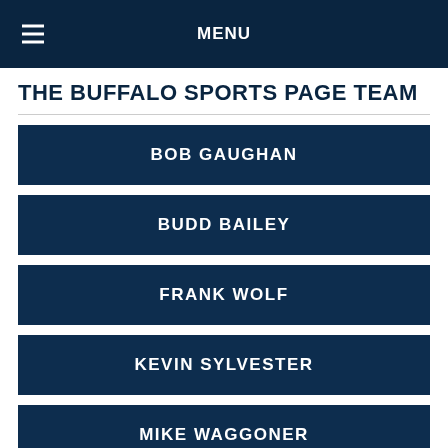MENU
THE BUFFALO SPORTS PAGE TEAM
BOB GAUGHAN
BUDD BAILEY
FRANK WOLF
KEVIN SYLVESTER
MIKE WAGGONER
PAUL PECK